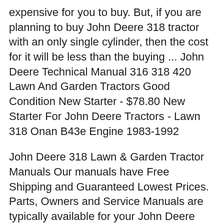expensive for you to buy. But, if you are planning to buy John Deere 318 tractor with an only single cylinder, then the cost for it will be less than the buying ... John Deere Technical Manual 316 318 420 Lawn And Garden Tractors Good Condition New Starter - $78.80 New Starter For John Deere Tractors - Lawn 318 Onan B43e Engine 1983-1992
John Deere 318 Lawn & Garden Tractor Manuals Our manuals have Free Shipping and Guaranteed Lowest Prices. Parts, Owners and Service Manuals are typically available for your John Deere 318 Lawn & Garden Tractor. Please see availability below. Which Manual Do I Need? 15/07/2014 · I'm looking for a